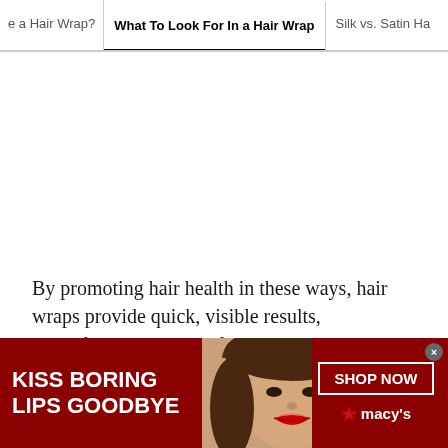e a Hair Wrap? | What To Look For In a Hair Wrap | Silk vs. Satin Ha
[Figure (photo): Large white space / image area in the middle of the article page]
By promoting hair health in these ways, hair wraps provide quick, visible results, beautifying your locks from the inside-out. The most obvious of these results,
[Figure (infographic): Macy's advertisement banner: dark red background with 'KISS BORING LIPS GOODBYE' text on the left, a woman's face with red lipstick in the center, and 'SHOP NOW' button with Macy's star logo on the right]